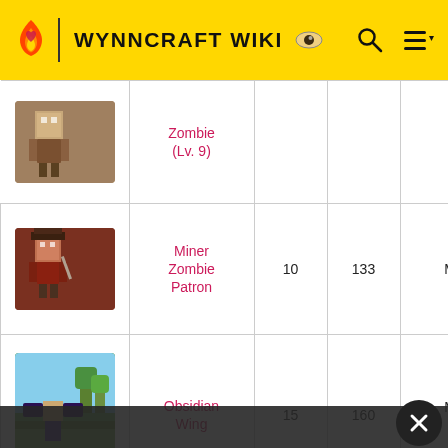WYNNCRAFT WIKI
| Image | Name | Level | HP | AI |
| --- | --- | --- | --- | --- |
| [img] | Zombie (Lv. 9) |  |  |  |
| [img] | Miner Zombie Patron | 10 | 133 | Melee AI |
| [img] | Obsidian Wing | 15 | 160 | Melee AI Flying |
| [img] | Corrupted Charger | 11 | 66 | Melee AI |
| [img] | Corrupted Slinger | 10 | 45 | Ranged AI |